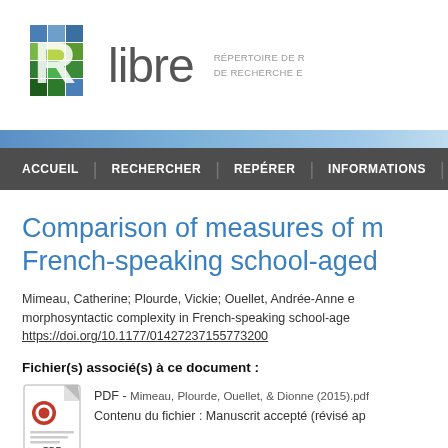[Figure (logo): Rlibre logo with colorful R mosaic and text 'libre', tagline 'RÉPERTOIRE DE R... DE RECHERCHE E...']
ACCUEIL | RECHERCHER | REPÉRER | INFORMATIONS
Comparison of measures of m... French-speaking school-aged...
Mimeau, Catherine; Plourde, Vickie; Ouellet, Andrée-Anne e... morphosyntactic complexity in French-speaking school-age... https://doi.org/10.1177/01427237155773200
Fichier(s) associé(s) à ce document :
[Figure (illustration): PDF file icon with red circle and document lines]
PDF - Mimeau, Plourde, Ouellet, & Dionne (2015).pdf
Contenu du fichier : Manuscrit accepté (révisé ap...